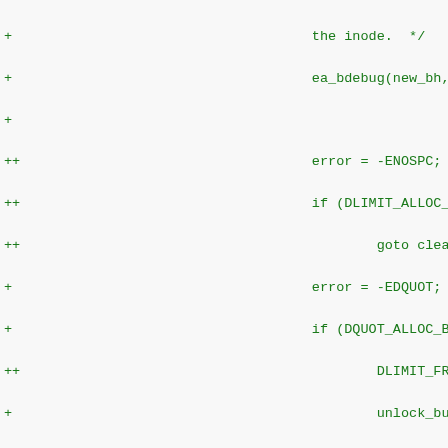Code diff showing changes to ext2 xattr functions including error handling with ENOSPC, EDQUOT, DLIMIT_FREE_BLOCK, DQUOT_FREE_BLOCK, mb_cache_entry, mark_buffer_dirty, ea_bdebug calls